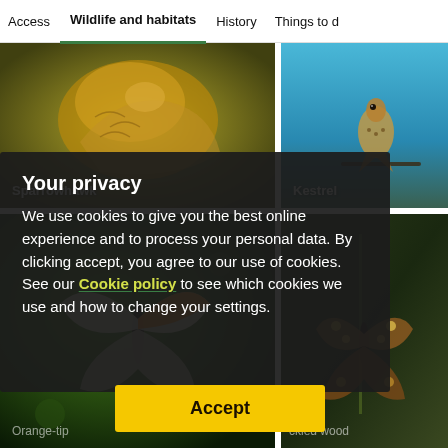Access  Wildlife and habitats  History  Things to d
[Figure (photo): Sparrowhawk bird perched, brown and golden plumage close-up]
Sparrowhawk
[Figure (photo): Kestrel bird perched on branch against blue sky]
Kestrel
[Figure (photo): Orange-tip butterfly on green background]
Orange-tip
[Figure (photo): Speckled wood butterfly on plant stem]
ckled wood
Your privacy
We use cookies to give you the best online experience and to process your personal data. By clicking accept, you agree to our use of cookies. See our Cookie policy to see which cookies we use and how to change your settings.